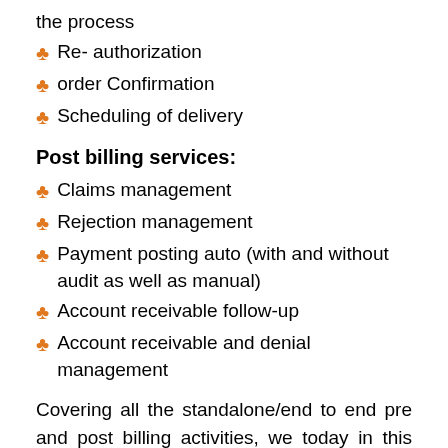the process
Re- authorization
order Confirmation
Scheduling of delivery
Post billing services:
Claims management
Rejection management
Payment posting auto (with and without audit as well as manual)
Account receivable follow-up
Account receivable and denial management
Covering all the standalone/end to end pre and post billing activities, we today in this pandemic situation is a cost effective billing solution at $7 per hour or 1.49%. Providing all the billing and collection support in this time of crisis, Sunknowledge Services in fact has never lost a single client.